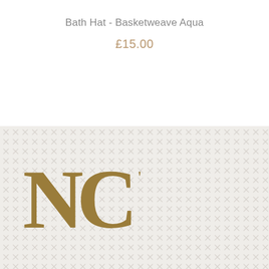Bath Hat - Basketweave Aqua
£15.00
[Figure (logo): NC monogram logo in gold/olive color on a light grey background with repeating X cross pattern. The letters N and C are large serif characters forming a combined monogram.]